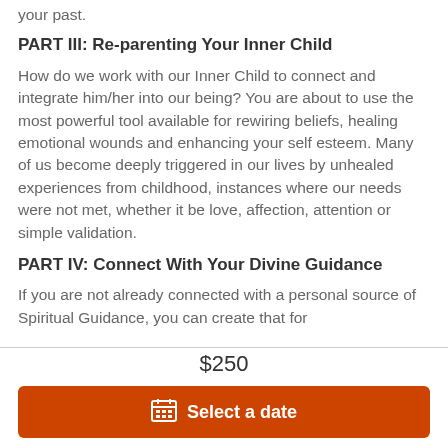your past.
PART III: Re-parenting Your Inner Child
How do we work with our Inner Child to connect and integrate him/her into our being? You are about to use the most powerful tool available for rewiring beliefs, healing emotional wounds and enhancing your self esteem. Many of us become deeply triggered in our lives by unhealed experiences from childhood, instances where our needs were not met, whether it be love, affection, attention or simple validation.
PART IV: Connect With Your Divine Guidance
If you are not already connected with a personal source of Spiritual Guidance, you can create that for
$250
Select a date